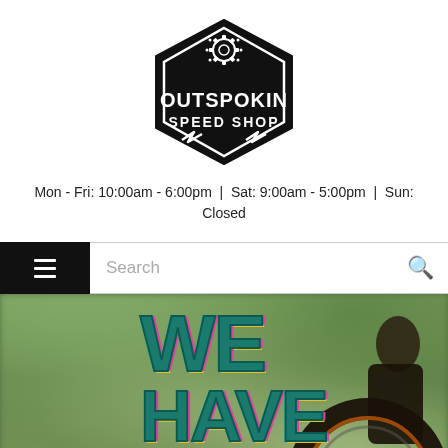[Figure (logo): Outspokin Speed Shop hexagonal logo with gear/chain sprocket icon at top, bold white text on black background reading OUTSPOKIN on top line and SPEED SHOP on bottom line, with lightning bolt decorations at bottom]
Mon - Fri: 10:00am - 6:00pm  |  Sat: 9:00am - 5:00pm  |  Sun: Closed
[Figure (screenshot): Navigation bar with black hamburger menu button on left and Search placeholder text with magnifying glass icon on right]
[Figure (photo): Hero image with blurred forest background, person holding bicycle wheel/tire, and large stylized teal text reading WE HAVE with colorful shadow effects in pink, cyan and gold]